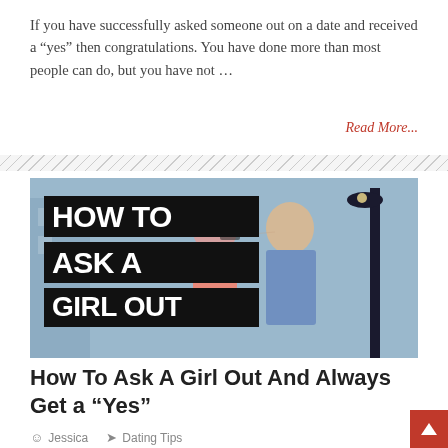If you have successfully asked someone out on a date and received a “yes” then congratulations. You have done more than most people can do, but you have not …
Read More...
[Figure (photo): Photograph of a couple about to kiss outdoors, with bold black text overlay reading HOW TO ASK A GIRL OUT]
How To Ask A Girl Out And Always Get a “Yes”
Jessica   Dating Tips